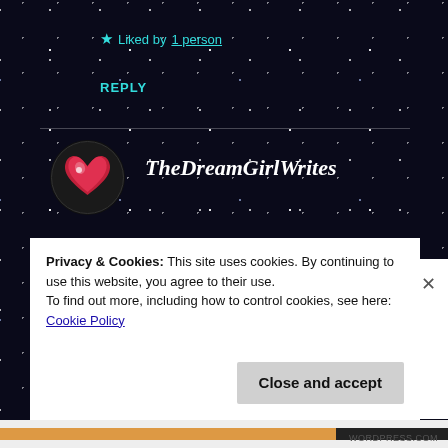★ Liked by 1 person
REPLY
[Figure (illustration): Circular avatar with a glowing red heart on black background]
TheDreamGirlWrites
APRIL 13, 2020 AT 11:45 PM
Yes. The only things evident are the questions...
Privacy & Cookies: This site uses cookies. By continuing to use this website, you agree to their use.
To find out more, including how to control cookies, see here: Cookie Policy
Close and accept